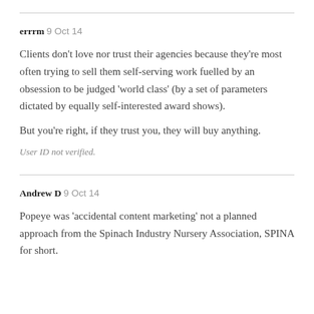errrm 9 Oct 14
Clients don't love nor trust their agencies because they're most often trying to sell them self-serving work fuelled by an obsession to be judged 'world class' (by a set of parameters dictated by equally self-interested award shows).
But you're right, if they trust you, they will buy anything.
User ID not verified.
Andrew D 9 Oct 14
Popeye was 'accidental content marketing' not a planned approach from the Spinach Industry Nursery Association, SPINA for short.